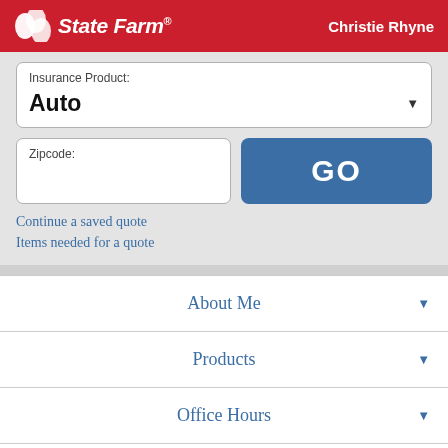State Farm® — Christie Rhyne
[Figure (screenshot): State Farm logo with three interlocking ovals and italic bold text 'State Farm®' in white on red background]
Insurance Product:
Auto
Zipcode:
GO
Continue a saved quote
Items needed for a quote
About Me
Products
Office Hours
Location & Phone